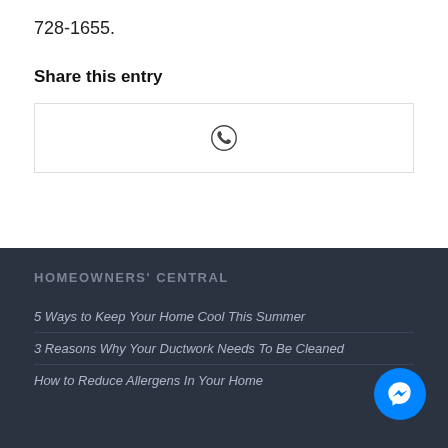728-1655.
Share this entry
[Figure (other): Share box with WhatsApp icon]
HOMEOWNERS' CENTRAL
5 Ways to Keep Your Home Cool This Summer
3 Reasons Why Your Ductwork Needs To Be Cleaned
How to Reduce Allergens In Your Home